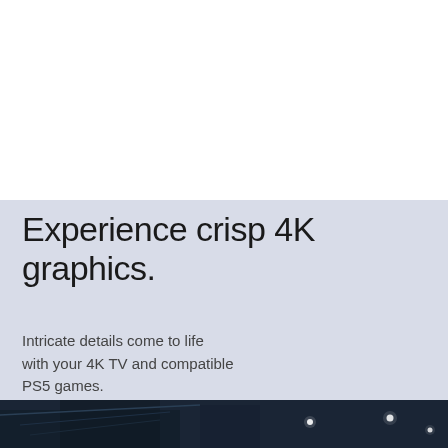[Figure (logo): PlayStation 5 (PS5) logo with the PlayStation brand mark icon and PS5 wordmark in bold black text]
PlayStation®5   Games   Accessories   More features
Experience crisp 4K graphics.
Intricate details come to life with your 4K TV and compatible PS5 games.
[Figure (photo): Dark atmospheric game screenshot showing a sci-fi or action scene with bright light points/orbs in a dark environment]